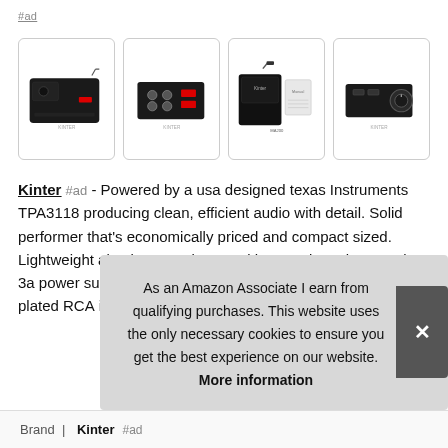#ad
[Figure (photo): Four product images of the Kinter audio amplifier shown from different angles in a horizontal row]
Kinter #ad - Powered by a usa designed texas Instruments TPA3118 producing clean, efficient audio with detail. Solid performer that's economically priced and compact sized. Lightweight aluminum enclosure with mounting tabs. 12 vdc, 3a power supply included. 3. 5 mm stereo jack and Gold-plated RCA inputs
As an Amazon Associate I earn from qualifying purchases. This website uses the only necessary cookies to ensure you get the best experience on our website. More information
| Brand |
| --- |
| Kinter #ad |